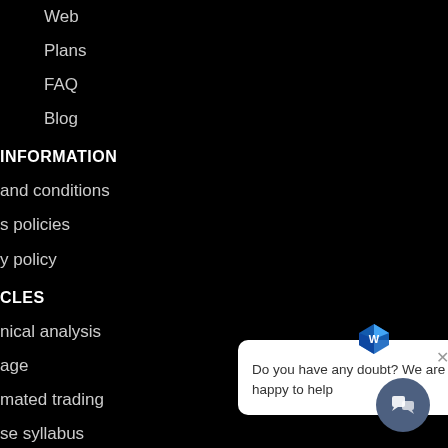Web
Plans
FAQ
Blog
INFORMATION
and conditions
s policies
y policy
CLES
nical analysis
age
mated trading
se syllabus
Trader4 EA
nload strategy
[Figure (screenshot): Chat popup widget with logo icon, close button, and text 'Do you have any doubt? We are happy to help']
Do you have any doubt? We are happy to help